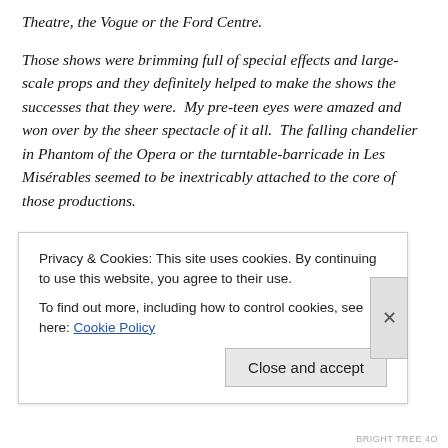Theatre, the Vogue or the Ford Centre.
Those shows were brimming full of special effects and large-scale props and they definitely helped to make the shows the successes that they were.  My pre-teen eyes were amazed and won over by the sheer spectacle of it all.  The falling chandelier in Phantom of the Opera or the turntable-barricade in Les Misérables seemed to be inextricably attached to the core of those productions.
Those touring versions don't stop by our fair city that much
Privacy & Cookies: This site uses cookies. By continuing to use this website, you agree to their use.
To find out more, including how to control cookies, see here: Cookie Policy